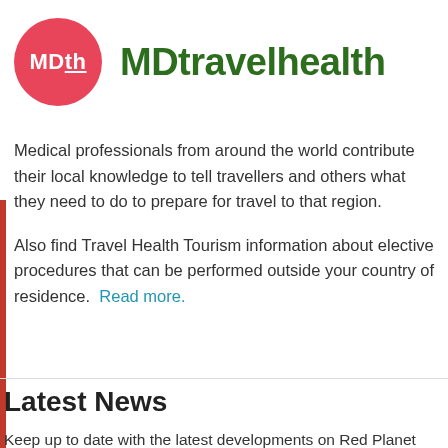[Figure (logo): MDtravelhealth logo: red circle with 'MDth' text in white, followed by 'MDtravelhealth' in bold dark green text]
Medical professionals from around the world contribute their local knowledge to tell travellers and others what they need to do to prepare for travel to that region.
Also find Travel Health Tourism information about elective procedures that can be performed outside your country of residence.  Read more.
Latest News
Keep up to date with the latest developments on Red Planet Travel, get travel tips and money saving ideas. Sign up for an account and you will receive our newsletter. It's "Junk-free" -